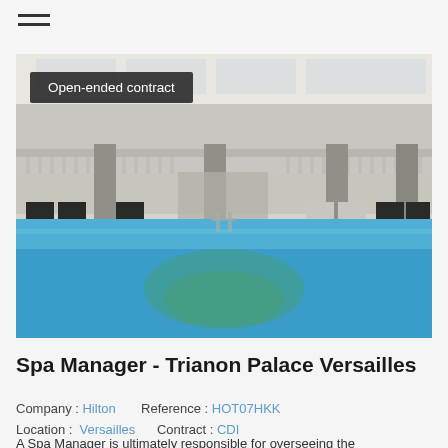[Figure (photo): Indoor swimming pool at Trianon Palace Versailles hotel, showing blue water, white columns, balcony railings, lounge chairs, and a glass ceiling. A dark badge overlay reads 'Open-ended contract'.]
Spa Manager - Trianon Palace Versailles
Company : Hilton    Reference : HOT07HKK
Location :  Versailles      Contract : CDI
A Spa Manager is ultimately responsible for overseeing the